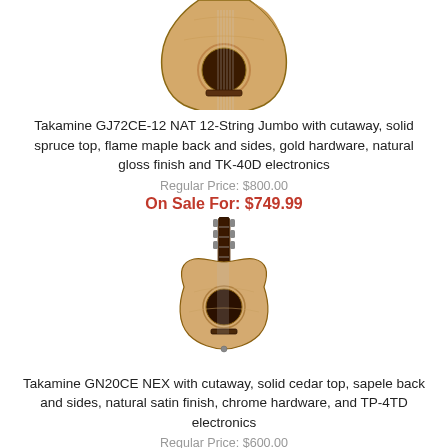[Figure (illustration): Takamine GJ72CE-12 NAT 12-string jumbo acoustic guitar with cutaway, natural finish, partial view showing body and neck top]
Takamine GJ72CE-12 NAT 12-String Jumbo with cutaway, solid spruce top, flame maple back and sides, gold hardware, natural gloss finish and TK-40D electronics
Regular Price: $800.00
On Sale For: $749.99
[Figure (illustration): Takamine GN20CE NEX acoustic guitar with cutaway, solid cedar top, natural satin finish, full body view]
Takamine GN20CE NEX with cutaway, solid cedar top, sapele back and sides, natural satin finish, chrome hardware, and TP-4TD electronics
Regular Price: $600.00